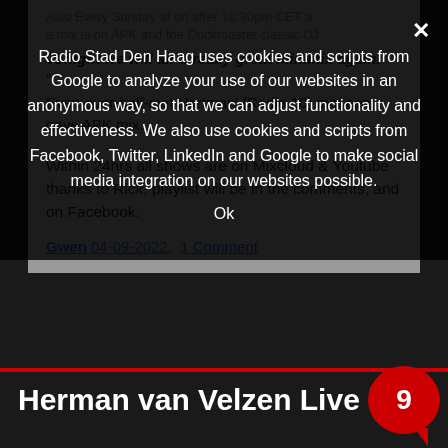Radio Stad Den Haag uses cookies and scripts from Google to analyze your use of our websites in an anonymous way, so that we can adjust functionality and effectiveness. We also use cookies and scripts from Facebook, Twitter, LinkedIn and Google to make social media integration on our websites possible.
Ok
Tonight we will air a really great minimix again. "
Even-over-half-met Hartman' (Radio 10) met een gave APK mix.
Within 24hrs all shows are on Mixcloud & Youtube thanks to Rick, playlist will be in the comments, and on Facebook.
Gwen 04-09-2022.  1 Comment
Herman van Velzen Live in